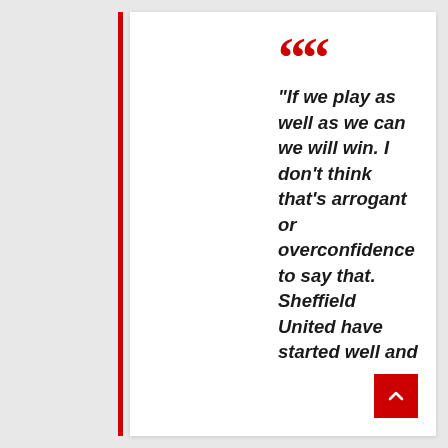“If we play as well as we can we will win. I don’t think that’s arrogant or overconfidence to say that. Sheffield United have started well and they’ll be difficult to beat but i’d be disappointed if we lose to a team with David McGoldrick and Billy Sharp up top. Defend well and I’d back us to break them down, i’d be less confident if we were playing them at home.”
“If you pooled our squad and theirs to make a combined XI, I think that every position would be filled by a Leicester player.  That said, this will